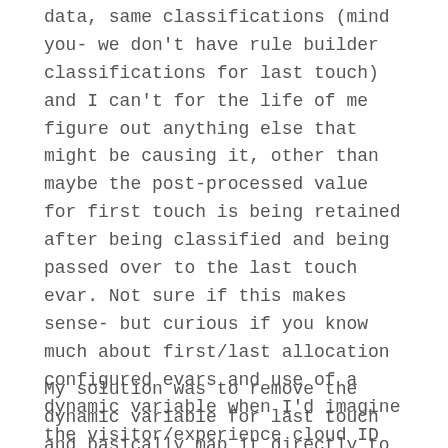data, same classifications (mind you- we don't have rule builder classifications for last touch) and I can't for the life of me figure out anything else that might be causing it, other than maybe the post-processed value for first touch is being retained after being classified and being passed over to the last touch evar. Not sure if this makes sense- but curious if you know much about first/last allocation configured evars and use of a dynamic variable when I'd imagine the visitor/experience cloud ID is retaining the first touch value and passing it over to last touch incorrectly.
My solution was to remove the dynamic variable for last touch and basically map it directly to the data layer value just like the other sites but also